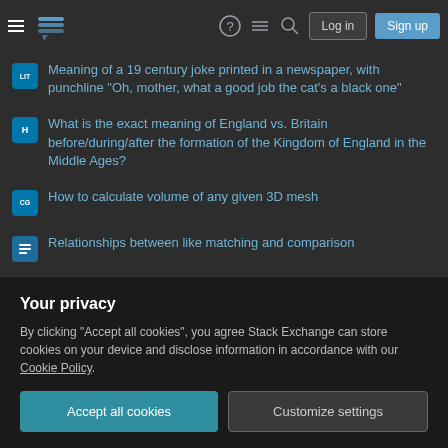Stack Exchange navigation bar with Log in and Sign up buttons
Meaning of a 19 century joke printed in a newspaper, with punchline "Oh, mother, what a good job the cat's a black one"
What is the exact meaning of England vs. Britain before/during/after the formation of the Kingdom of England in the Middle Ages?
How to calculate volume of any given 3D mesh
Relationships between like matching and comparison
Was one-third of Pakistan flooded in August 2022?
One to many transactions on the Lightning Network, practical approach/limits?
Justifying a smaller control group in survey study
Has there been a 1101% increase in excess deaths among children
Your privacy
By clicking "Accept all cookies", you agree Stack Exchange can store cookies on your device and disclose information in accordance with our Cookie Policy.
Accept all cookies   Customize settings
outputs 1.68 MHz